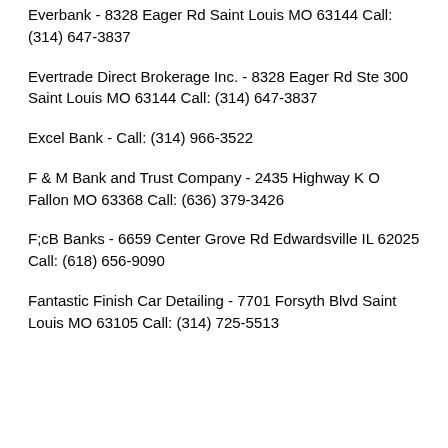Everbank - 8328 Eager Rd Saint Louis MO 63144 Call: (314) 647-3837
Evertrade Direct Brokerage Inc. - 8328 Eager Rd Ste 300 Saint Louis MO 63144 Call: (314) 647-3837
Excel Bank - Call: (314) 966-3522
F & M Bank and Trust Company - 2435 Highway K O Fallon MO 63368 Call: (636) 379-3426
F;cB Banks - 6659 Center Grove Rd Edwardsville IL 62025 Call: (618) 656-9090
Fantastic Finish Car Detailing - 7701 Forsyth Blvd Saint Louis MO 63105 Call: (314) 725-5513